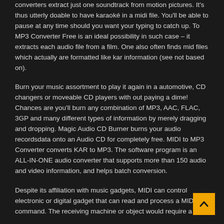converters extract just one soundtrack from motion pictures. It's thus utterly doable to have karaoké in a midi file. You'll be able to pause at any time should you want your typing to catch up. To MP3 Converter Free is an ideal possibility in such case – it extracts each audio file from a film. One also often finds mid files which actually are formatted like kar information (see not based on).
Burn your music assortment to play it again in a automotive, CD changers or moveable CD players with out paying a dime! Chances are you'll burn any combination of MP3, AAC, FLAC, 3GP and many different types of information by merely dragging and dropping. Magic Audio CD Burner burns your audio recordsdata onto an Audio CD for completely free. MIDI to MP3 Converter converts KAR to MP3. The software program is an ALL-IN-ONE audio converter that supports more than 150 audio and video information, and helps batch conversion.
Despite its affiliation with music gadgets, MIDI can control electronic or digital gadget that can read and process a MIDI command. The receiving machine or object would require a